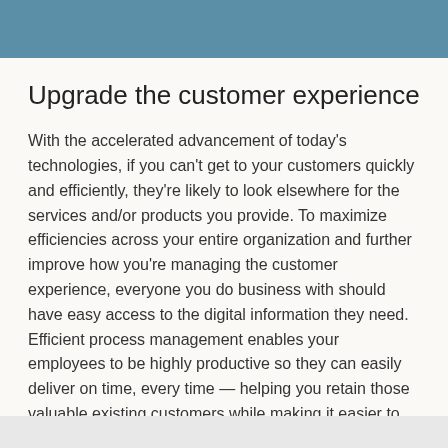Upgrade the customer experience
With the accelerated advancement of today's technologies, if you can't get to your customers quickly and efficiently, they're likely to look elsewhere for the services and/or products you provide. To maximize efficiencies across your entire organization and further improve how you're managing the customer experience, everyone you do business with should have easy access to the digital information they need. Efficient process management enables your employees to be highly productive so they can easily deliver on time, every time — helping you retain those valuable existing customers while making it easier to entice new ones.